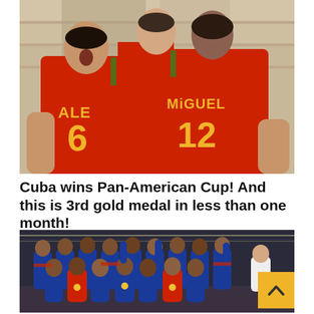[Figure (photo): Volleyball players in red jerseys huddling together celebrating. Jerseys visible read 'ALE 6' and 'MIGUEL 12'. Players are seen from behind/side with bleachers in background.]
Cuba wins Pan-American Cup! And this is 3rd gold medal in less than one month!
[Figure (photo): Cuban volleyball team posing together in blue and red tracksuits, celebrating with medals. Large group photo in an arena setting.]